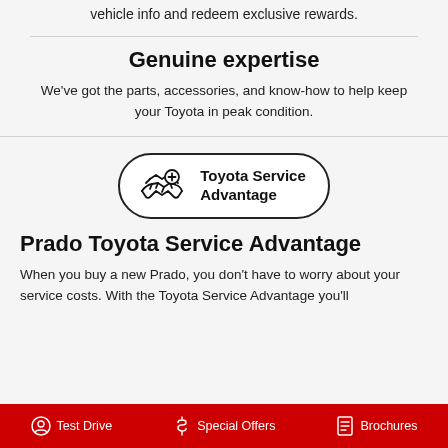vehicle info and redeem exclusive rewards.
Genuine expertise
We've got the parts, accessories, and know-how to help keep your Toyota in peak condition.
[Figure (logo): Toyota Service Advantage badge with handshake icon and plus symbol]
Prado Toyota Service Advantage
When you buy a new Prado, you don't have to worry about your service costs. With the Toyota Service Advantage you'll
Test Drive   Special Offers   Brochures